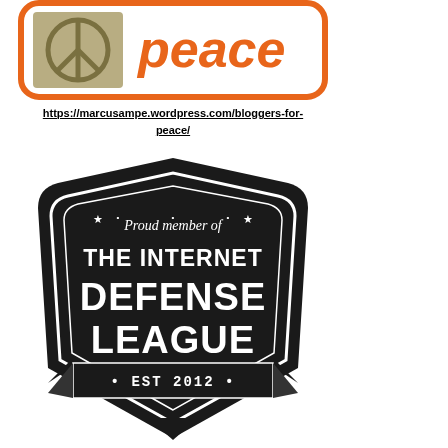[Figure (logo): Bloggers for Peace logo - orange rounded rectangle border with a peace sign icon on the left (olive/tan colored) and orange stylized 'peace' text on the right]
https://marcusampe.wordpress.com/bloggers-for-peace/
[Figure (logo): The Internet Defense League badge - black shield shape with white text reading 'Proud member of THE INTERNET DEFENSE LEAGUE EST 2012', decorated with stars and ribbon banner at bottom]